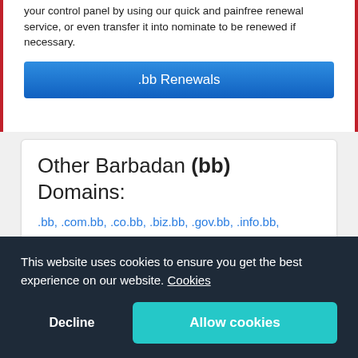your control panel by using our quick and painfree renewal service, or even transfer it into nominate to be renewed if necessary.
.bb Renewals
Other Barbadan (bb) Domains:
.bb, .com.bb, .co.bb, .biz.bb, .gov.bb, .info.bb, .net.bb, .org.bb, .store.bb, .tv.bb
This website uses cookies to ensure you get the best experience on our website. Cookies
Decline
Allow cookies
higher price than the one listed. We will contact you